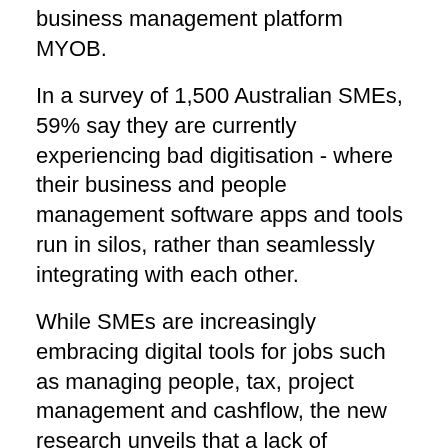business management platform MYOB.
In a survey of 1,500 Australian SMEs, 59% say they are currently experiencing bad digitisation - where their business and people management software apps and tools run in silos, rather than seamlessly integrating with each other.
While SMEs are increasingly embracing digital tools for jobs such as managing people, tax, project management and cashflow, the new research unveils that a lack of integration between applications businesses have invested in is costing them time, money and resources, and posing a strategic risk.
"To put it in perspective, Australian households spend around $660 each year on streaming subscriptions like Netflix and Kayo, while our data shows the average SME spends 25% more than this